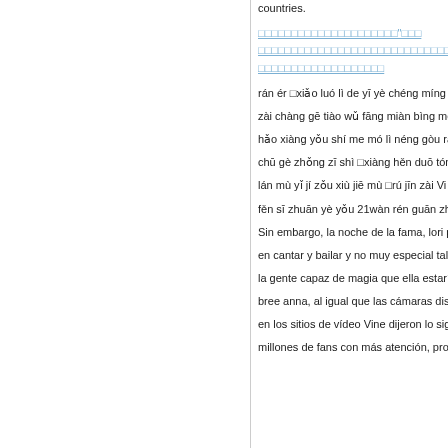countries.
Chinese hyperlinked text block (blue underlined characters)
rán ér □xiǎo luó lì de yī yè chéng míng y
zài chàng gē tiào wǔ fāng miàn bìng mé
hǎo xiàng yǒu shí me mó lì néng gòu rà
chū gè zhǒng zī shì □xiàng hěn duō tóng
lán mù yǐ jí zǒu xiù jiē mù □rú jīn zài Vi
fěn sī zhuān yè yǒu 21wàn rén guān zhù
Sin embargo, la noche de la fama, lori pe
en cantar y bailar y no muy especial tale
la gente capaz de magia que ella estaría s
bree anna, al igual que las cámaras disfr
en los sitios de vídeo Vine dijeron lo sig
millones de fans con más atención, proce